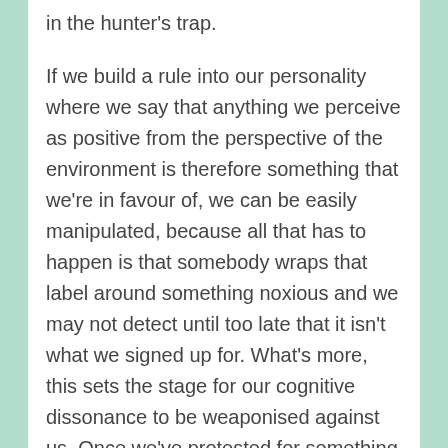in the hunter's trap.

If we build a rule into our personality where we say that anything we perceive as positive from the perspective of the environment is therefore something that we're in favour of, we can be easily manipulated, because all that has to happen is that somebody wraps that label around something noxious and we may not detect until too late that it isn't what we signed up for. What's more, this sets the stage for our cognitive dissonance to be weaponised against us. Once we've protested for something called environmental protectionism and we discover that it wasn't as it was advertised, we have a predicament, we either have to publicly admit fault that we favoured this in the first place, which is hard to do, or we double down on protesting even further. This effect is certainly enhanced when